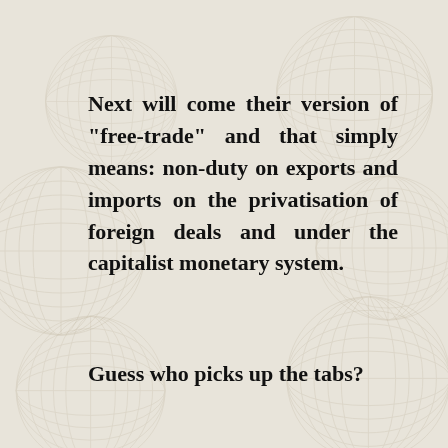Next will come their version of "free-trade" and that simply means: non-duty on exports and imports on the privatisation of foreign deals and under the capitalist monetary system.
Guess who picks up the tabs?